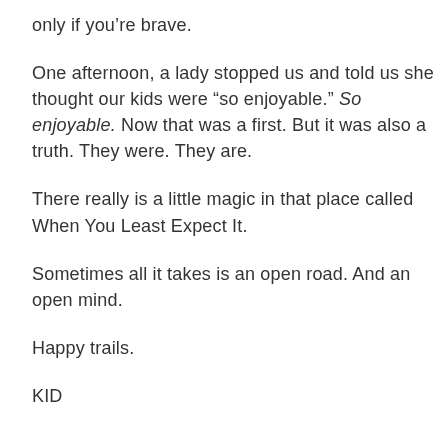only if you're brave.
One afternoon, a lady stopped us and told us she thought our kids were “so enjoyable.” So enjoyable. Now that was a first. But it was also a truth. They were. They are.
There really is a little magic in that place called When You Least Expect It.
Sometimes all it takes is an open road. And an open mind.
Happy trails.
KID